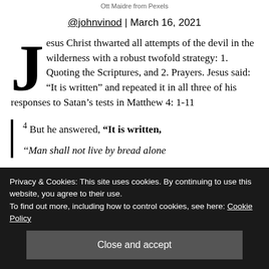Ott Maidre from Pexels
@johnvinod | March 16, 2021
Jesus Christ thwarted all attempts of the devil in the wilderness with a robust twofold strategy: 1. Quoting the Scriptures, and 2. Prayers. Jesus said: “It is written” and repeated it in all three of his responses to Satan’s tests in Matthew 4: 1-11
4 But he answered, “It is written,
‘‘Man shall not live by bread alone
him on the pinnacle of the temple 6 and said to
Privacy & Cookies: This site uses cookies. By continuing to use this website, you agree to their use. To find out more, including how to control cookies, see here: Cookie Policy
Close and accept